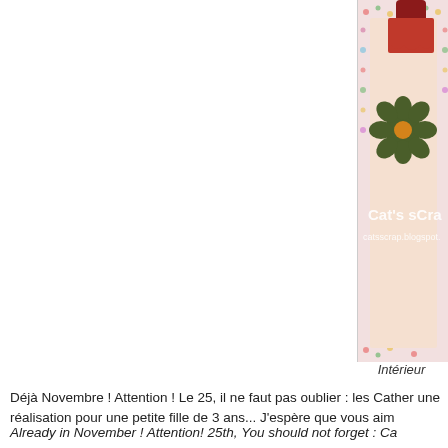[Figure (photo): Partial view of a decorative scrapbook card with floral patterned border, a dark flower embellishment, a figure in red dress, and text 'Cat's sCra' and 'catsscrap.blogspot.' on a pink/cream background]
Intérieur
Déjà Novembre ! Attention ! Le 25, il ne faut pas oublier : les Cather une réalisation pour une petite fille de 3 ans... J'espère que vous aim
Already in November ! Attention! 25th, You should not forget : Ca Here's a realization for a little girl... I hope that you will like...
[ Notre Star du Jour ] :
[Figure (photo): Partial photo of a small child or baby, showing head/face area, inside a white bordered frame]